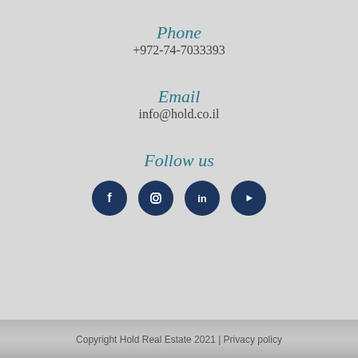Phone
+972-74-7033393
Email
info@hold.co.il
Follow us
[Figure (infographic): Four circular dark navy social media icons: Facebook, Instagram, LinkedIn, YouTube]
Copyright Hold Real Estate 2021 | Privacy policy